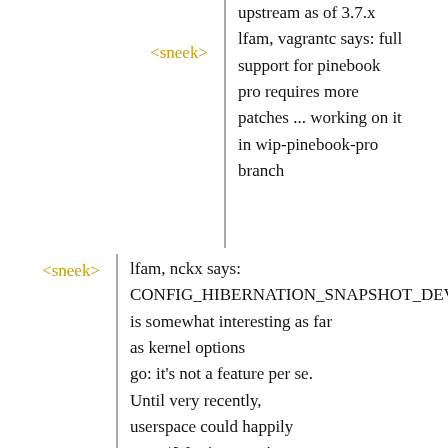<sneek> upstream as of 3.7.x lfam, vagrantc says: full support for pinebook pro requires more patches ... working on it in wip-pinebook-pro branch
<sneek> lfam, nckx says: CONFIG_HIBERNATION_SNAPSHOT_DEV is somewhat interesting as far as kernel options go: it's not a feature per se. Until very recently, userspace could happily corru^Wwrite to active swap devices. That hole was finally closed in 5.8. This option partially re-opens it for one specific use case (hence the note about 'attack surface'). Anyway, not (yet) relevant for us.